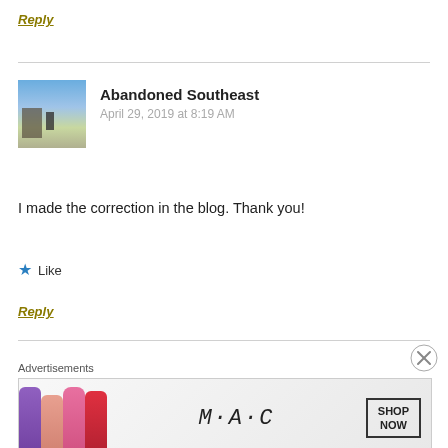Reply
Abandoned Southeast
April 29, 2019 at 8:19 AM
[Figure (photo): Avatar photo showing a outdoor scene with a fence and a figure silhouetted against a blue sky]
I made the correction in the blog. Thank you!
★ Like
Reply
Advertisements
[Figure (illustration): MAC Cosmetics advertisement banner showing colorful lipsticks and SHOP NOW box]